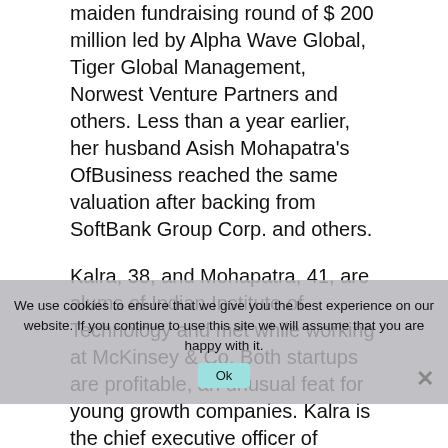maiden fundraising round of $ 200 million led by Alpha Wave Global, Tiger Global Management, Norwest Venture Partners and others. Less than a year earlier, her husband Asish Mohapatra's OfBusiness reached the same valuation after backing from SoftBank Group Corp. and others.
Kalra, 38, and Mohapatra, 41, are alums of Indian Institute of Technology and met while working at McKinsey & Co. Both startups are profitable, an unusual feat for young growth companies. Kalra is the chief executive officer of Oxyzo while Mohapatra is the CEO at OfBusiness.
Matrix Partners and Creation Investments also invested in Oxyzo in what is one of the
We use cookies to ensure that we give you the best experience on our website. If you continue to use this site we will assume that you are happy with it.